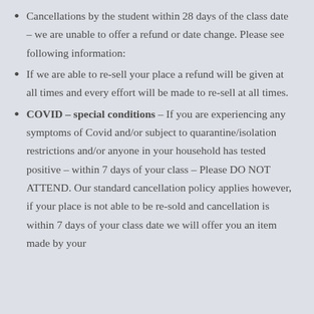Cancellations by the student within 28 days of the class date – we are unable to offer a refund or date change. Please see following information:
If we are able to re-sell your place a refund will be given at all times and every effort will be made to re-sell at all times.
COVID – special conditions – If you are experiencing any symptoms of Covid and/or subject to quarantine/isolation restrictions and/or anyone in your household has tested positive – within 7 days of your class – Please DO NOT ATTEND. Our standard cancellation policy applies however, if your place is not able to be re-sold and cancellation is within 7 days of your class date we will offer you an item made by your